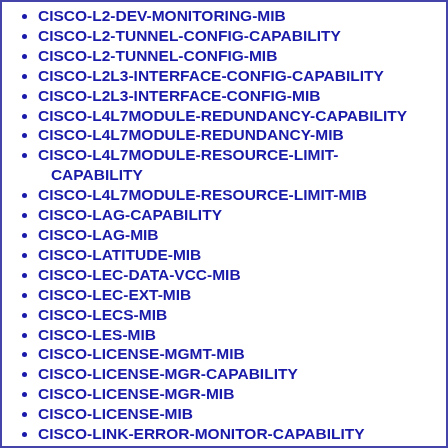CISCO-L2-DEV-MONITORING-MIB
CISCO-L2-TUNNEL-CONFIG-CAPABILITY
CISCO-L2-TUNNEL-CONFIG-MIB
CISCO-L2L3-INTERFACE-CONFIG-CAPABILITY
CISCO-L2L3-INTERFACE-CONFIG-MIB
CISCO-L4L7MODULE-REDUNDANCY-CAPABILITY
CISCO-L4L7MODULE-REDUNDANCY-MIB
CISCO-L4L7MODULE-RESOURCE-LIMIT-CAPABILITY
CISCO-L4L7MODULE-RESOURCE-LIMIT-MIB
CISCO-LAG-CAPABILITY
CISCO-LAG-MIB
CISCO-LATITUDE-MIB
CISCO-LEC-DATA-VCC-MIB
CISCO-LEC-EXT-MIB
CISCO-LECS-MIB
CISCO-LES-MIB
CISCO-LICENSE-MGMT-MIB
CISCO-LICENSE-MGR-CAPABILITY
CISCO-LICENSE-MGR-MIB
CISCO-LICENSE-MIB
CISCO-LINK-ERROR-MONITOR-CAPABILITY
CISCO-LINK-ERROR-MONITOR-MIB
CISCO-LLDP-EXT-MED-CAPABILITY
CISCO-LOCAL-DIRECTOR-MIB
CISCO-LOC-???-MIB